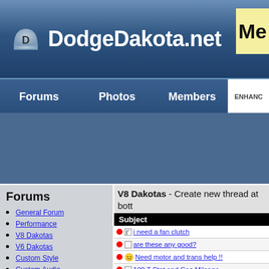DodgeDakota.net
Forums | Photos | Members | ENHANC
Forums
General Forum
Performance
V8 Dakotas
V6 Dakotas
Custom Style
Custom Audio
Off Road
Raised Dakotas
Lowered Daks
Dealer/Recalls
Members Only
V8 Dakotas - Create new thread at bott
| Subject |
| --- |
| i need a fan clutch |
| are these any good? |
| Need motor and trans help !! |
| 180 T Stat and Gas Mileage |
| exhaust??? |
| Engine Code Scanners |
| MD R/T OWNERS,NAT'L MEET |
| idahoRT |